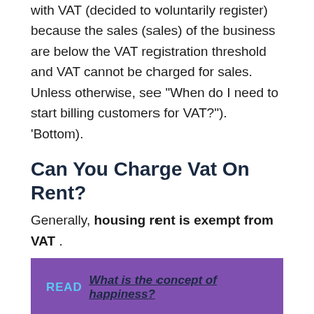with VAT (decided to voluntarily register) because the sales (sales) of the business are below the VAT registration threshold and VAT cannot be charged for sales. Unless otherwise, see “When do I need to start billing customers for VAT?”). ‘Bottom).
Can You Charge Vat On Rent?
Generally, housing rent is exempt from VAT .
READ  What is the concept of happiness?
Should Salaries Be Included In Vat Return?